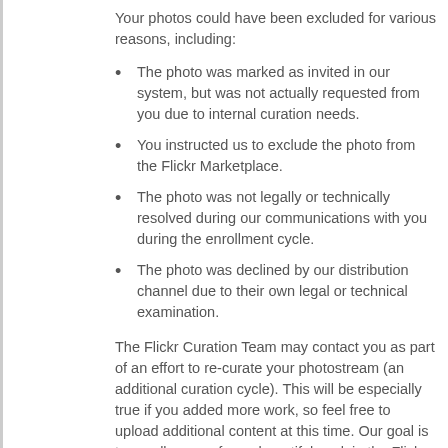Your photos could have been excluded for various reasons, including:
The photo was marked as invited in our system, but was not actually requested from you due to internal curation needs.
You instructed us to exclude the photo from the Flickr Marketplace.
The photo was not legally or technically resolved during our communications with you during the enrollment cycle.
The photo was declined by our distribution channel due to their own legal or technical examination.
The Flickr Curation Team may contact you as part of an effort to re-curate your photostream (an additional curation cycle). This will be especially true if you added more work, so feel free to upload additional content at this time. Our goal is to enroll some of your beautiful work in the Flickr Marketplace by completing additional rounds of curation. We want to thank you for your patience as we work on improvements to photographer tools, communication and the overall onboarding experience.